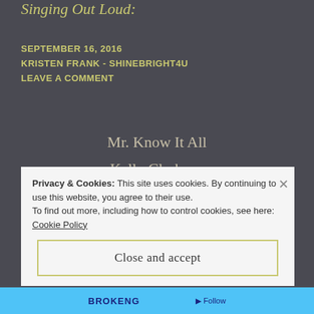Singing Out Loud:
SEPTEMBER 16, 2016
KRISTEN FRANK - SHINEBRIGHT4U
LEAVE A COMMENT
Mr. Know It All
Kelly Clarkson
Well ya think you know it all
Privacy & Cookies: This site uses cookies. By continuing to use this website, you agree to their use.
To find out more, including how to control cookies, see here:
Cookie Policy
Close and accept